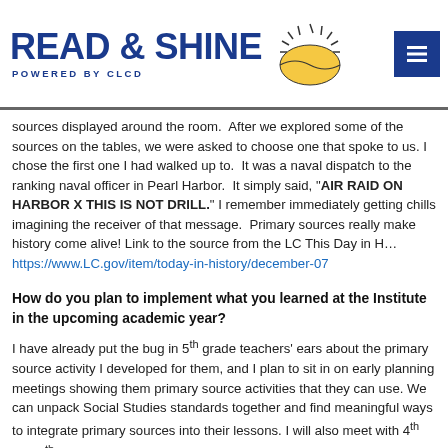READ & SHINE POWERED BY CLCD
sources displayed around the room.  After we explored some of the sources on the tables, we were asked to choose one that spoke to us. I chose the first one I had walked up to.  It was a naval dispatch to the ranking naval officer in Pearl Harbor.  It simply said, "AIR RAID ON HARBOR X THIS IS NOT DRILL." I remember immediately getting chills imagining the receiver of that message.  Primary sources really make history come alive! Link to the source from the LC This Day in History: https://www.LC.gov/item/today-in-history/december-07
How do you plan to implement what you learned at the Institute in the upcoming academic year?
I have already put the bug in 5th grade teachers' ears about the primary source activity I developed for them, and I plan to sit in on early planning meetings showing them primary source activities that they can use. We can unpack Social Studies standards together and find meaningful ways to integrate primary sources into their lessons. I will also meet with 4th and 5th grade teachers to discuss how primary sources can enhance existing lessons and unit plans.